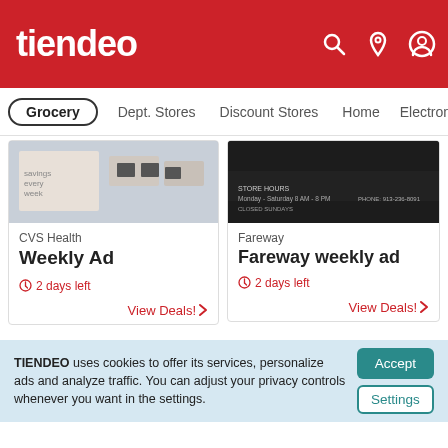tiendeo
Grocery
Dept. Stores
Discount Stores
Home
Electronic
CVS Health
Weekly Ad
2 days left
View Deals! ›
Fareway
Fareway weekly ad
2 days left
View Deals! ›
[Figure (screenshot): CVS Health flyer thumbnail]
[Figure (screenshot): Fareway flyer thumbnail]
[Figure (screenshot): Fareway Kansas City's Best Meat Market ad thumbnail]
[Figure (screenshot): Save-A-Lot weekly ad thumbnail]
TIENDEO uses cookies to offer its services, personalize ads and analyze traffic. You can adjust your privacy controls whenever you want in the settings.
Accept
Settings